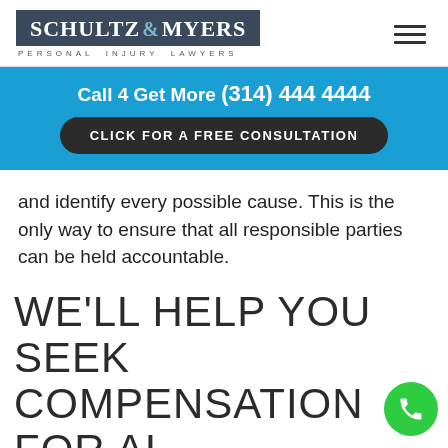[Figure (logo): Schultz & Myers Personal Injury Lawyers logo with dark blue background and hamburger menu icon]
Call 4 Get More (314) 444 4444
CLICK FOR A FREE CONSULTATION
and identify every possible cause. This is the only way to ensure that all responsible parties can be held accountable.
WE'LL HELP YOU SEEK COMPENSATION FOR ALL OF YOUR PEDESTRIAN